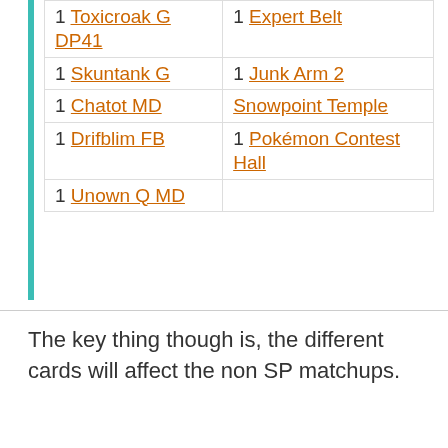| 1 Toxicroak G DP41 | 1 Expert Belt |
| 1 Skuntank G | 1 Junk Arm 2 |
| 1 Chatot MD | Snowpoint Temple |
| 1 Drifblim FB | 1 Pokémon Contest Hall |
| 1 Unown Q MD |  |
The key thing though is, the different cards will affect the non SP matchups.